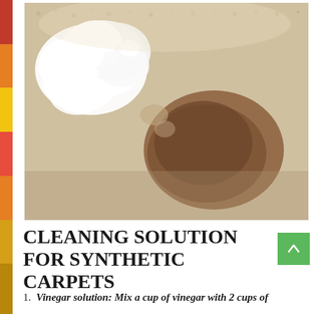[Figure (photo): Close-up photo of a beige/cream carpet with a brown stain and white foam/cleaning product being applied to it.]
CLEANING SOLUTION FOR SYNTHETIC CARPETS
Vinegar solution: Mix a cup of vinegar with 2 cups of